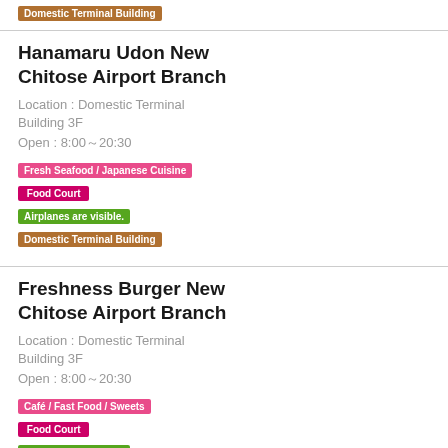Domestic Terminal Building
Hanamaru Udon New Chitose Airport Branch
Location : Domestic Terminal Building 3F
Open : 8:00～20:30
Fresh Seafood / Japanese Cuisine
Food Court
Airplanes are visible.
Domestic Terminal Building
Freshness Burger New Chitose Airport Branch
Location : Domestic Terminal Building 3F
Open : 8:00～20:30
Café / Fast Food / Sweets
Food Court
Airplanes are visible.
Domestic Terminal Building